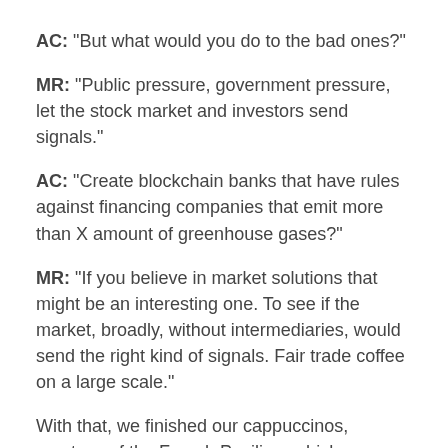AC: "But what would you do to the bad ones?"
MR: "Public pressure, government pressure, let the stock market and investors send signals."
AC: "Create blockchain banks that have rules against financing companies that emit more than X amount of greenhouse gases?"
MR: "If you believe in market solutions that might be an interesting one. To see if the market, broadly, without intermediaries, would send the right kind of signals. Fair trade coffee on a large scale."
With that, we finished our cappuccinos, courtesy of the French Pavilion, which was across from the booth where we were sitting courtesy of Serbia.
(Photo: [cut off]